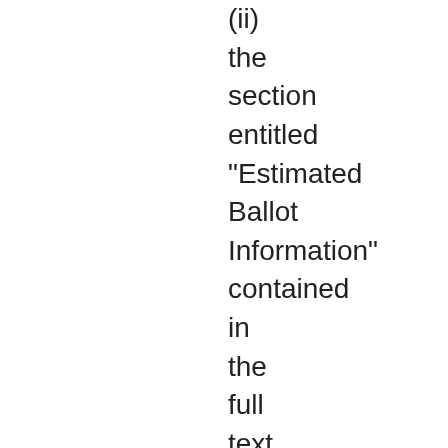(ii) the section entitled "Estimated Ballot Information" contained in the full text of the bond proposition in Exhibit A attached hereto shall